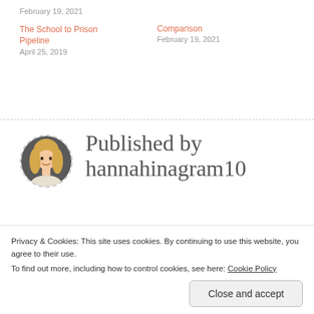February 19, 2021
Comparison
February 19, 2021
The School to Prison Pipeline
April 25, 2019
[Figure (photo): Circular avatar photo of a young blonde woman smiling, with a dashed circular border]
Published by hannahinagram10
Privacy & Cookies: This site uses cookies. By continuing to use this website, you agree to their use.
To find out more, including how to control cookies, see here: Cookie Policy
Close and accept